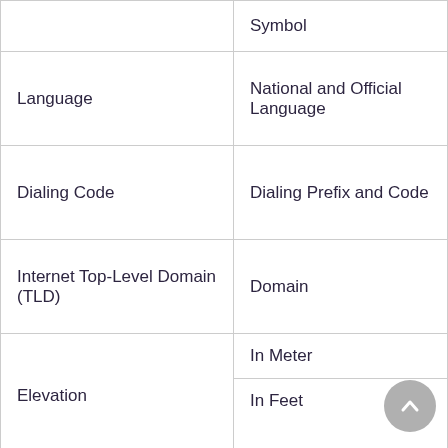|  | Symbol |
| --- | --- |
| Language | National and Official Language |
| Dialing Code | Dialing Prefix and Code |
| Internet Top-Level Domain (TLD) | Domain |
| Elevation | In Meter
In Feet |
| GPS Coordinates | Latitude
Longitude
Decimal Degrees (DD)
Degrees Minutes Seconds (DMS)
Degrees Decimal Minutes (DDM) |
| Time Zone | UTC Offset
Daylight Saving Time (DST) |